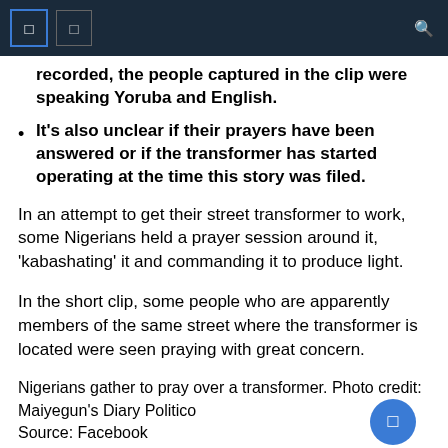☰ ☰ 🔍
recorded, the people captured in the clip were speaking Yoruba and English.
It's also unclear if their prayers have been answered or if the transformer has started operating at the time this story was filed.
In an attempt to get their street transformer to work, some Nigerians held a prayer session around it, 'kabashating' it and commanding it to produce light.
In the short clip, some people who are apparently members of the same street where the transformer is located were seen praying with great concern.
Nigerians gather to pray over a transformer. Photo credit: Maiyegun's Diary Politico
Source: Facebook